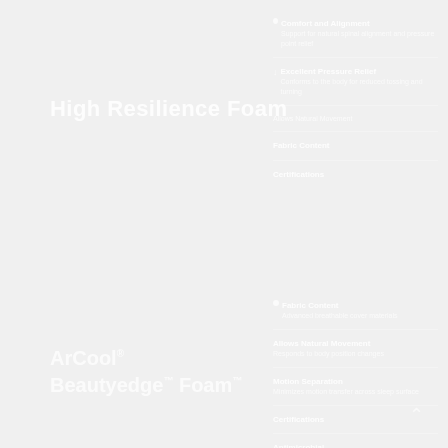High Resilience Foam
Comfort and Alignment Support
Excellent Pressure Relief
Allows Natural Movement
Fabric Content
Certifications
ArCool® Beautyedge™ Foam™
Fabric Content
Allows Natural Movement
Motion Separation
Certifications
Antimicrobial